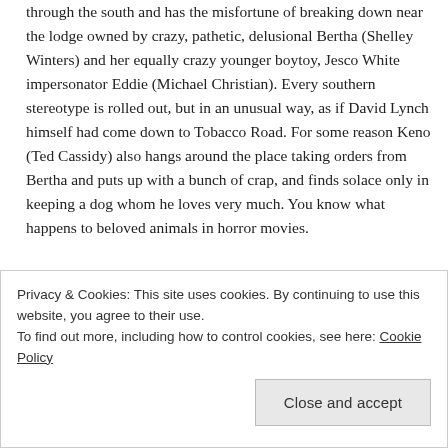through the south and has the misfortune of breaking down near the lodge owned by crazy, pathetic, delusional Bertha (Shelley Winters) and her equally crazy younger boytoy, Jesco White impersonator Eddie (Michael Christian). Every southern stereotype is rolled out, but in an unusual way, as if David Lynch himself had come down to Tobacco Road. For some reason Keno (Ted Cassidy) also hangs around the place taking orders from Bertha and puts up with a bunch of crap, and finds solace only in keeping a dog whom he loves very much. You know what happens to beloved animals in horror movies.
[Figure (photo): Red banner/header image with dark red side stripes and a dark shape visible at the top center]
Privacy & Cookies: This site uses cookies. By continuing to use this website, you agree to their use.
To find out more, including how to control cookies, see here: Cookie Policy
Close and accept